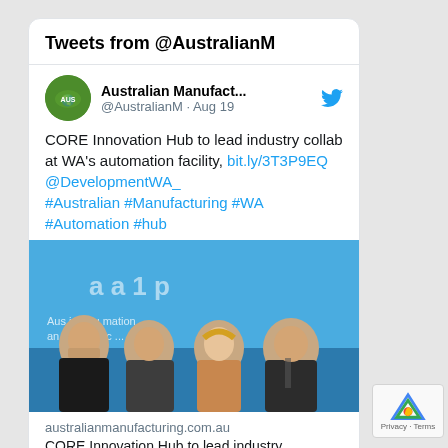Tweets from @AustralianM
Australian Manufact... @AustralianM · Aug 19
CORE Innovation Hub to lead industry collab at WA's automation facility, bit.ly/3T3P9EQ @DevelopmentWA_ #Australian #Manufacturing #WA #Automation #hub
[Figure (photo): Four people seated in front of a banner reading 'Australian Automation and Robotics...' at an event]
australianmanufacturing.com.au
CORE Innovation Hub to lead industry